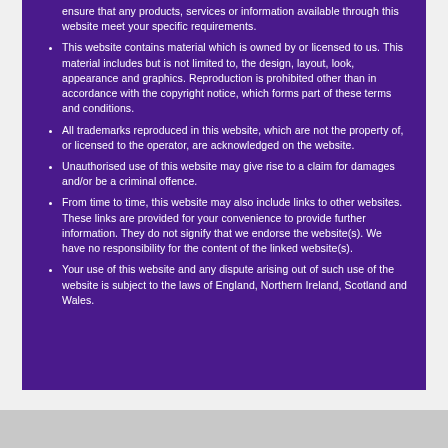ensure that any products, services or information available through this website meet your specific requirements.
This website contains material which is owned by or licensed to us. This material includes but is not limited to, the design, layout, look, appearance and graphics. Reproduction is prohibited other than in accordance with the copyright notice, which forms part of these terms and conditions.
All trademarks reproduced in this website, which are not the property of, or licensed to the operator, are acknowledged on the website.
Unauthorised use of this website may give rise to a claim for damages and/or be a criminal offence.
From time to time, this website may also include links to other websites. These links are provided for your convenience to provide further information. They do not signify that we endorse the website(s). We have no responsibility for the content of the linked website(s).
Your use of this website and any dispute arising out of such use of the website is subject to the laws of England, Northern Ireland, Scotland and Wales.